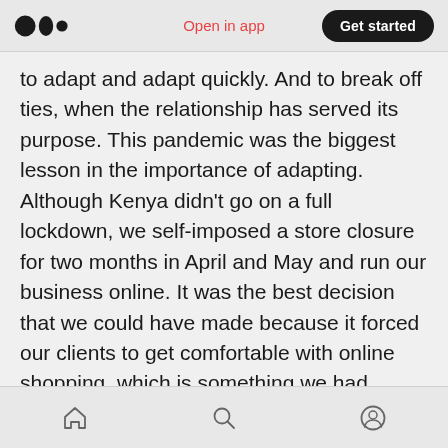Medium logo | Open in app | Get started
to adapt and adapt quickly. And to break off ties, when the relationship has served its purpose. This pandemic was the biggest lesson in the importance of adapting. Although Kenya didn't go on a full lockdown, we self-imposed a store closure for two months in April and May and run our business online. It was the best decision that we could have made because it forced our clients to get comfortable with online shopping, which is something we had struggled to do. It also helped us learn how to serve clients virtually, including sizing them and this has helped us grow our
Home | Search | Profile